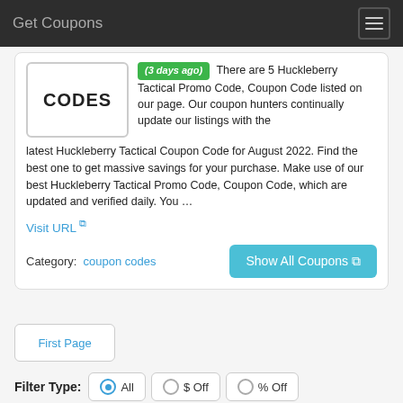Get Coupons
[Figure (screenshot): CODES box image placeholder with border]
(3 days ago) There are 5 Huckleberry Tactical Promo Code, Coupon Code listed on our page. Our coupon hunters continually update our listings with the latest Huckleberry Tactical Coupon Code for August 2022. Find the best one to get massive savings for your purchase. Make use of our best Huckleberry Tactical Promo Code, Coupon Code, which are updated and verified daily. You ...
Visit URL
Category:  coupon codes
Show All Coupons
First Page
Filter Type:  All  $ Off  % Off
Free Shipping